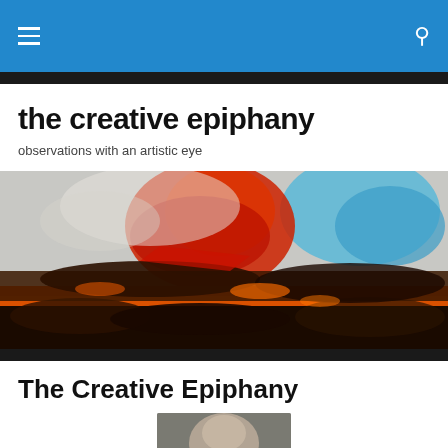Navigation bar with hamburger menu and search icon
the creative epiphany
observations with an artistic eye
[Figure (illustration): Abstract expressionist painting with vibrant orange, red, blue, black and white colors — textured landscape-style artwork]
The Creative Epiphany
[Figure (photo): Partial portrait photograph of a person, cropped showing top of head/hair]